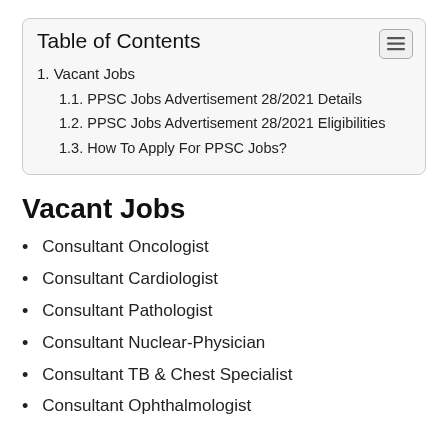Table of Contents
1. Vacant Jobs
1.1. PPSC Jobs Advertisement 28/2021 Details
1.2. PPSC Jobs Advertisement 28/2021 Eligibilities
1.3. How To Apply For PPSC Jobs?
Vacant Jobs
Consultant Oncologist
Consultant Cardiologist
Consultant Pathologist
Consultant Nuclear-Physician
Consultant TB & Chest Specialist
Consultant Ophthalmologist